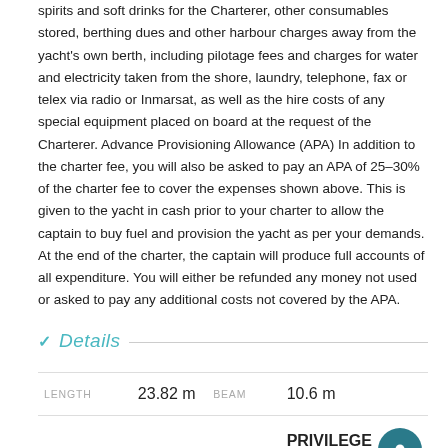spirits and soft drinks for the Charterer, other consumables stored, berthing dues and other harbour charges away from the yacht's own berth, including pilotage fees and charges for water and electricity taken from the shore, laundry, telephone, fax or telex via radio or Inmarsat, as well as the hire costs of any special equipment placed on board at the request of the Charterer. Advance Provisioning Allowance (APA) In addition to the charter fee, you will also be asked to pay an APA of 25-30% of the charter fee to cover the expenses shown above. This is given to the yacht in cash prior to your charter to allow the captain to buy fuel and provision the yacht as per your demands. At the end of the charter, the captain will produce full accounts of all expenditure. You will either be refunded any money not used or asked to pay any additional costs not covered by the APA.
Details
| LENGTH |  | BEAM |  |
| --- | --- | --- | --- |
| LENGTH | 23.82 m | BEAM | 10.6 m |
| YEAR BUILT | 2016 | BUILDER | PRIVILEGE MARINE |